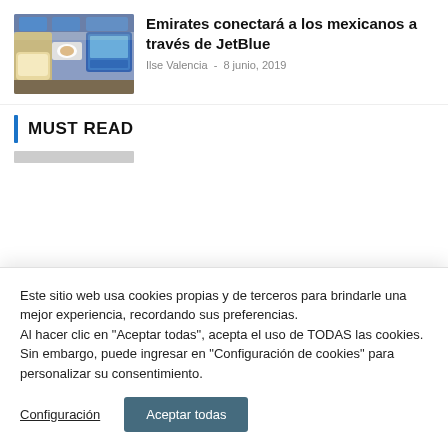[Figure (photo): Photo of an airplane cabin interior, first class or business class, with seats and screens.]
Emirates conectará a los mexicanos a través de JetBlue
Ilse Valencia  -  8 junio, 2019
MUST READ
Este sitio web usa cookies propias y de terceros para brindarle una mejor experiencia, recordando sus preferencias.
Al hacer clic en "Aceptar todas", acepta el uso de TODAS las cookies.
Sin embargo, puede ingresar en "Configuración de cookies" para personalizar su consentimiento.